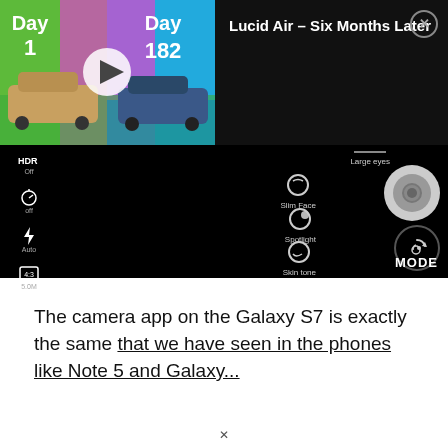[Figure (screenshot): Screenshot of a smartphone camera app UI. Left portion shows a YouTube-style video thumbnail with 'Day 1' and 'Day 182' labels side by side showing two Lucid Air cars with a play button overlay. Right of the thumbnail is a dark panel with video title 'Lucid Air - Six Months Later' and a close (X) button. Below is a camera app interface with HDR/timer/flash/aspect/settings controls on the left, and beauty filter options (Large eyes, Slim Face, Spotlight, Skin tone) on the right side, with a shutter button, flip camera button, and MODE label.]
The camera app on the Galaxy S7 is exactly the same that we have seen in the phones like Note 5 and Galaxy...